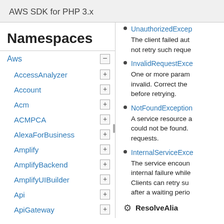AWS SDK for PHP 3.x
Namespaces
Aws
AccessAnalyzer
Account
Acm
ACMPCA
AlexaForBusiness
Amplify
AmplifyBackend
AmplifyUIBuilder
Api
ApiGateway
ApiGatewayManagementApi
UnauthorizedExcep... The client failed aut... not retry such reque...
InvalidRequestExce... One or more param... invalid. Correct the ... before retrying.
NotFoundException... A service resource a... could not be found. ... requests.
InternalServiceExce... The service encoun... internal failure while... Clients can retry su... after a waiting perio...
ResolveAlia...